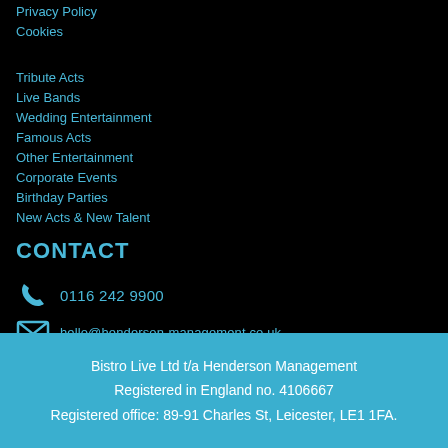Privacy Policy
Cookies
Tribute Acts
Live Bands
Wedding Entertainment
Famous Acts
Other Entertainment
Corporate Events
Birthday Parties
New Acts & New Talent
CONTACT
0116 242 9900
hello@henderson-management.co.uk
[Figure (infographic): Social media icons: Facebook, Twitter, YouTube]
Bistro Live Ltd t/a Henderson Management
Registered in England no. 4106667
Registered office: 89-91 Charles St, Leicester, LE1 1FA.